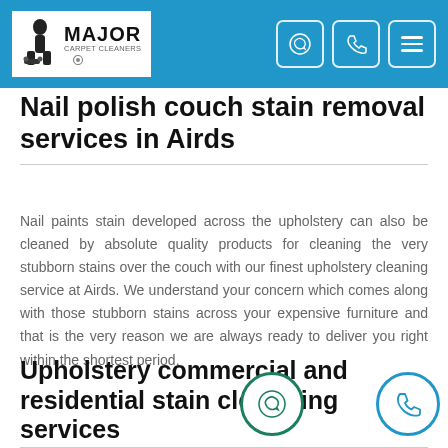Major Carpet Cleaners
Nail polish couch stain removal services in Airds
Nail paints stain developed across the upholstery can also be cleaned by absolute quality products for cleaning the very stubborn stains over the couch with our finest upholstery cleaning service at Airds. We understand your concern which comes along with those stubborn stains across your expensive furniture and that is the very reason we are always ready to deliver you right within the shortest period.
Upholstery commercial and residential stain cleaning services